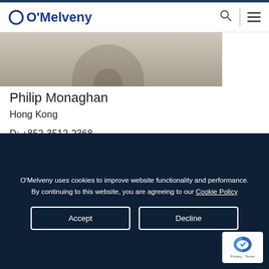O'Melveny
[Figure (photo): Partial view of Philip Monaghan's profile photo, showing person in a suit, cropped at the top]
Philip Monaghan
Hong Kong
D: +852-3512-2368
[Figure (illustration): Email icon button (dark square with envelope symbol)]
[Figure (illustration): vCard/contact card icon button (dark square with card symbol)]
[Figure (photo): Second profile photo partially visible at page bottom]
O'Melveny uses cookies to improve website functionality and performance. By continuing to this website, you are agreeing to our Cookie Policy
Accept
Decline